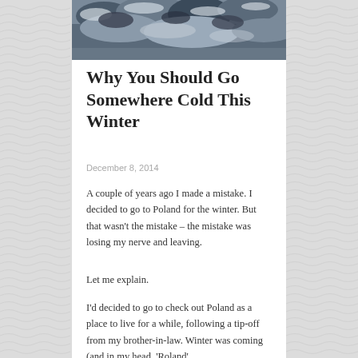[Figure (photo): Snow-covered rocky landscape, winter scene from above]
Why You Should Go Somewhere Cold This Winter
December 8, 2014
A couple of years ago I made a mistake. I decided to go to Poland for the winter. But that wasn't the mistake – the mistake was losing my nerve and leaving.
Let me explain.
I'd decided to go to check out Poland as a place to live for a while, following a tip-off from my brother-in-law. Winter was coming (and in my head, 'Roland'...